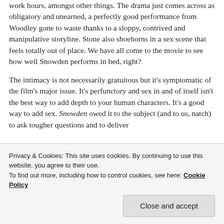work hours, amongst other things. The drama just comes across as obligatory and unearned, a perfectly good performance from Woodley gone to waste thanks to a sloppy, contrived and manipulative storyline. Stone also shoehorns in a sex scene that feels totally out of place. We have all come to the movie to see how well Snowden performs in bed, right?
The intimacy is not necessarily gratuitous but it's symptomatic of the film's major issue. It's perfunctory and sex in and of itself isn't the best way to add depth to your human characters. It's a good way to add sex. Snowden owed it to the subject (and to us, natch) to ask tougher questions and to deliver
Privacy & Cookies: This site uses cookies. By continuing to use this website, you agree to their use.
To find out more, including how to control cookies, see here: Cookie Policy